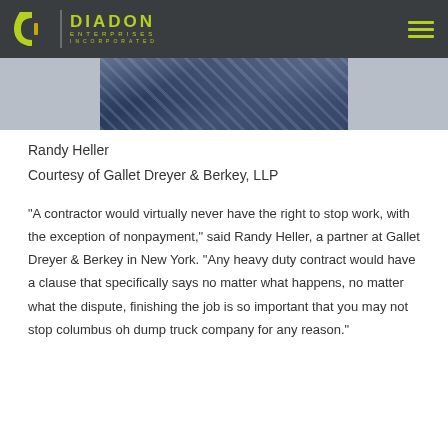Diadon Enterprises Incorporated
[Figure (photo): Partial view of a person in a dark suit with a blue striped tie, cropped to show only the torso and tie area]
Randy Heller
Courtesy of Gallet Dreyer & Berkey, LLP
"A contractor would virtually never have the right to stop work, with the exception of nonpayment," said Randy Heller, a partner at Gallet Dreyer & Berkey in New York. "Any heavy duty contract would have a clause that specifically says no matter what happens, no matter what the dispute, finishing the job is so important that you may not stop columbus oh dump truck company for any reason."